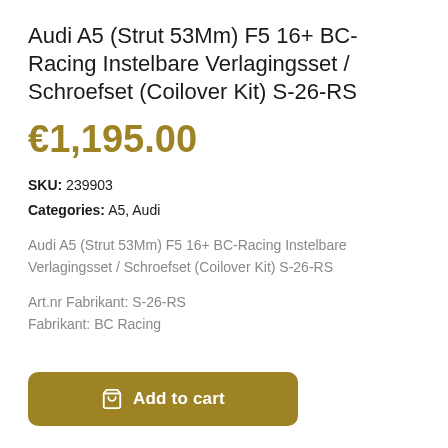Audi A5 (Strut 53Mm) F5 16+ BC-Racing Instelbare Verlagingsset / Schroefset (Coilover Kit) S-26-RS
€1,195.00
SKU: 239903
Categories: A5, Audi
Audi A5 (Strut 53Mm) F5 16+ BC-Racing Instelbare Verlagingsset / Schroefset (Coilover Kit) S-26-RS
Art.nr Fabrikant: S-26-RS
Fabrikant: BC Racing
Add to cart